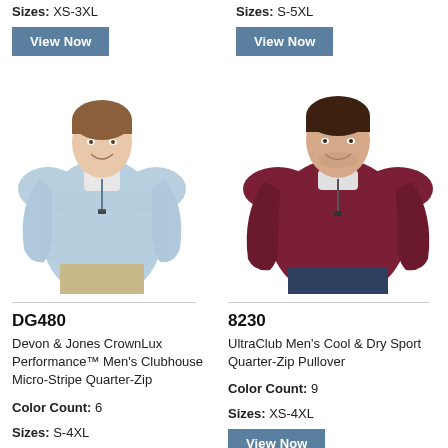Sizes: XS-3XL
View Now
Sizes: S-5XL
View Now
[Figure (photo): Man wearing light blue quarter-zip pullover sweatshirt]
DG480
Devon & Jones CrownLux Performance™ Men's Clubhouse Micro-Stripe Quarter-Zip
Color Count: 6
Sizes: S-4XL
View Now
[Figure (photo): Man wearing dark red/maroon quarter-zip pullover sweatshirt]
8230
UltraClub Men's Cool & Dry Sport Quarter-Zip Pullover
Color Count: 9
Sizes: XS-4XL
View Now